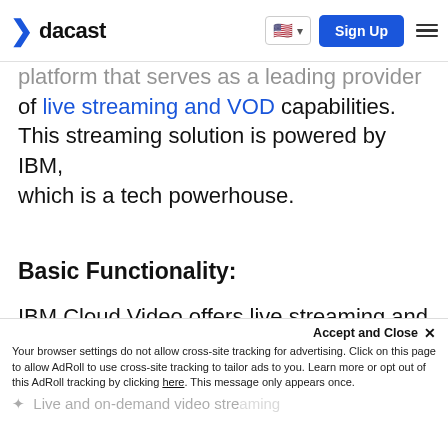dacast — Sign Up
platform that serves as a leading provider of live streaming and VOD capabilities. This streaming solution is powered by IBM, which is a tech powerhouse.
Basic Functionality:
IBM Cloud Video offers live streaming and VOD through the cloud.
Key Features: (partially visible)
Accept and Close ✕
Your browser settings do not allow cross-site tracking for advertising. Click on this page to allow AdRoll to use cross-site tracking to tailor ads to you. Learn more or opt out of this AdRoll tracking by clicking here. This message only appears once.